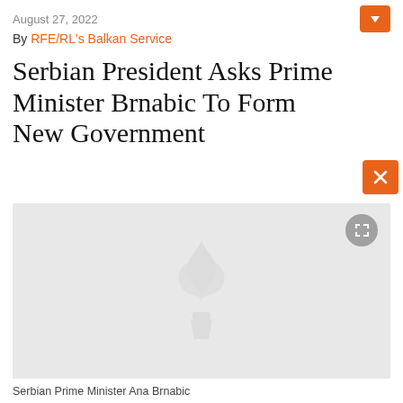August 27, 2022
By RFE/RL's Balkan Service
Serbian President Asks Prime Minister Brnabic To Form New Government
[Figure (photo): Loading placeholder image with RFE/RL watermark logo on grey background, with expand button in top right corner]
Serbian Prime Minister Ana Brnabic